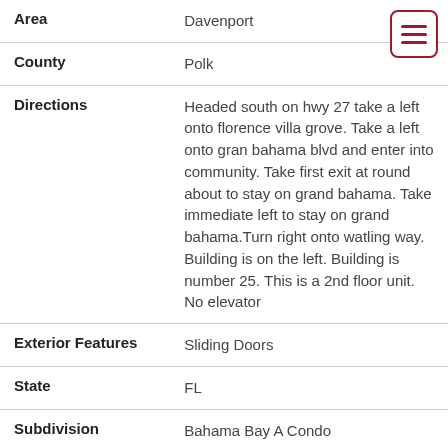| Field | Value |
| --- | --- |
| Area | Davenport |
| County | Polk |
| Directions | Headed south on hwy 27 take a left onto florence villa grove. Take a left onto gran bahama blvd and enter into community. Take first exit at round about to stay on grand bahama. Take immediate left to stay on grand bahama.Turn right onto watling way. Building is on the left. Building is number 25. This is a 2nd floor unit. No elevator |
| Exterior Features | Sliding Doors |
| State | FL |
| Subdivision | Bahama Bay A Condo |
| Town | Davenport |